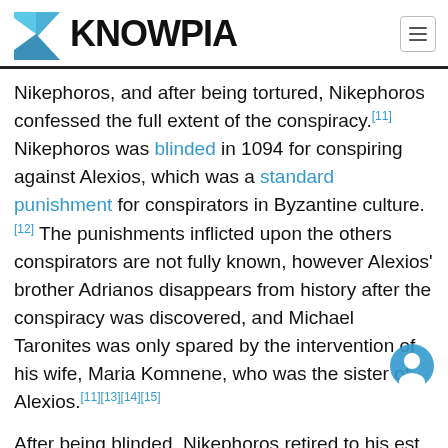KNOWPIA
Nikephoros, and after being tortured, Nikephoros confessed the full extent of the conspiracy.[11] Nikephoros was blinded in 1094 for conspiring against Alexios, which was a standard punishment for conspirators in Byzantine culture.[12] The punishments inflicted upon the others conspirators are not fully known, however Alexios' brother Adrianos disappears from history after the conspiracy was discovered, and Michael Taronites was only spared by the intervention of his wife, Maria Komnene, who was the sister of Alexios.[11][13][14][15]
After being blinded, Nikephoros retired to his estate and spent the remaining years of his life studying classical literature, having secretaries read out the